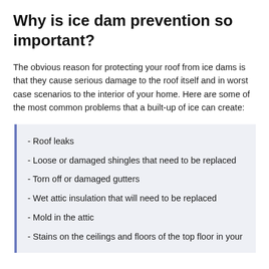Why is ice dam prevention so important?
The obvious reason for protecting your roof from ice dams is that they cause serious damage to the roof itself and in worst case scenarios to the interior of your home. Here are some of the most common problems that a built-up of ice can create:
- Roof leaks
- Loose or damaged shingles that need to be replaced
- Torn off or damaged gutters
- Wet attic insulation that will need to be replaced
- Mold in the attic
- Stains on the ceilings and floors of the top floor in your